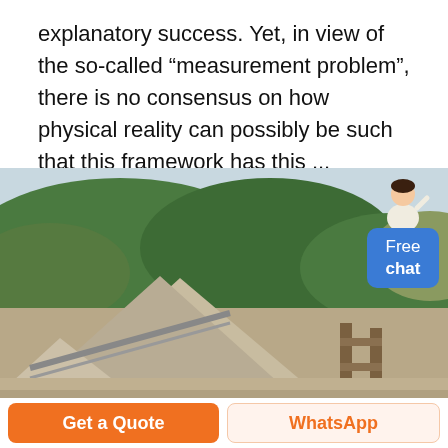explanatory success. Yet, in view of the so-called "measurement problem", there is no consensus on how physical reality can possibly be such that this framework has this ...
[Figure (photo): Outdoor photograph of a mining or quarry site showing large piles of grey aggregate/gravel material with industrial equipment (conveyors/scaffolding) and green forested hills in the background under a pale sky.]
Free chat
Get a Quote
WhatsApp